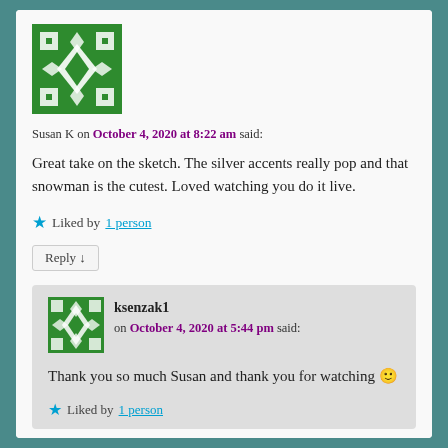[Figure (illustration): Green avatar/gravatar icon with white geometric diamond pattern for user Susan K]
Susan K on October 4, 2020 at 8:22 am said:
Great take on the sketch. The silver accents really pop and that snowman is the cutest. Loved watching you do it live.
★ Liked by 1 person
Reply ↓
[Figure (illustration): Small green avatar/gravatar icon with white geometric pattern for user ksenzak1]
ksenzak1 on October 4, 2020 at 5:44 pm said:
Thank you so much Susan and thank you for watching 🙂
★ Liked by 1 person